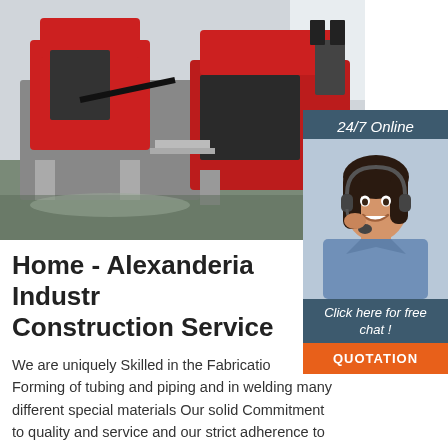[Figure (photo): Industrial red and grey metal cutting/sawing machines in a factory setting, showing large automated band saw equipment on a production floor.]
[Figure (photo): 24/7 Online chat widget with a smiling woman wearing a headset, dark teal background, with 'Click here for free chat!' text and orange QUOTATION button.]
Home - Alexanderia Industrial Construction Service
We are uniquely Skilled in the Fabrication, Forming of tubing and piping and in welding many different special materials Our solid Commitment to quality and service and our strict adherence to international standards has earned us many satisfied clients in all major industrial fields.. PRESSURE PARTS, TUBING PIPING: At AICS